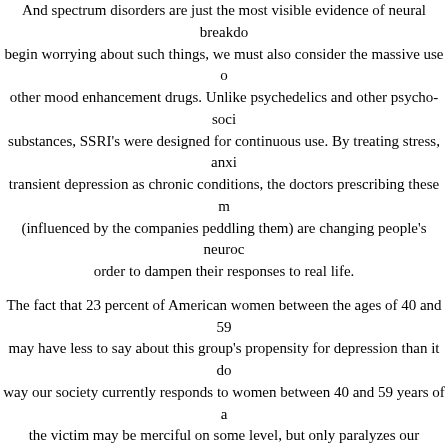And spectrum disorders are just the most visible evidence of neural breakdo begin worrying about such things, we must also consider the massive use o other mood enhancement drugs. Unlike psychedelics and other psycho-soci substances, SSRI's were designed for continuous use. By treating stress, anxi transient depression as chronic conditions, the doctors prescribing these m (influenced by the companies peddling them) are changing people's neuroc order to dampen their responses to real life.
The fact that 23 percent of American women between the ages of 40 and 59 may have less to say about this group's propensity for depression than it do way our society currently responds to women between 40 and 59 years of a the victim may be merciful on some level, but only paralyzes our collective s as a culture and species.
So, on the one hand we should be worried about a future society in which t few of us left to keep the lights on, caring for a huge population of neutrall adults. And we are seeing the beginnings of this in a media-influenced societ beliefs, road rage, and inappropriate reactions to stimulus. The reasonable whom we depend for restaurants, hospitals, and democracy itself to function dwindling in numbers, replaced by those with short tempers, inferiority comp inability to read basic social cues.
On the other hand, if all this bothers us, we're supposed to take medication alter our perceptions of and responses to social phenomena that should right healthy person depressed. And the number of people who have chosen to pha limit their emotions by not a should be of concern to anyone who cares the